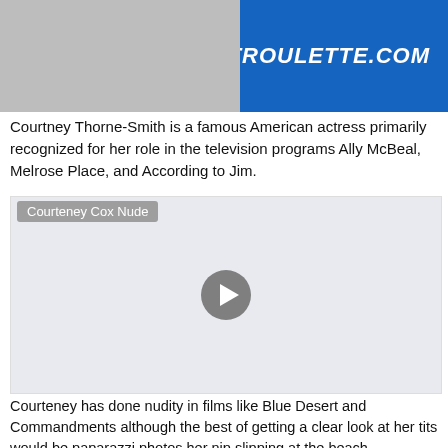[Figure (photo): Advertisement banner with photo on left and SLUTROULETTE.COM text on blue background on right]
Courtney Thorne-Smith is a famous American actress primarily recognized for her role in the television programs Ally McBeal, Melrose Place, and According to Jim.
[Figure (screenshot): Video player placeholder with gray background, label reading 'Courteney Cox Nude', and a play button in the center]
Courteney has done nudity in films like Blue Desert and Commandments although the best of getting a clear look at her tits would be paparazzi photos her nip slipping at the beach.